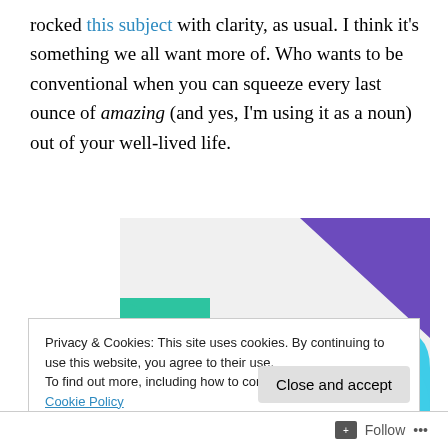rocked this subject with clarity, as usual. I think it's something we all want more of. Who wants to be conventional when you can squeeze every last ounce of amazing (and yes, I'm using it as a noun) out of your well-lived life.
[Figure (illustration): Promotional banner with purple and teal geometric shapes on a light gray background with bold text reading 'How to start selling subscriptions online']
Privacy & Cookies: This site uses cookies. By continuing to use this website, you agree to their use. To find out more, including how to control cookies, see here: Cookie Policy
Close and accept
Follow ···